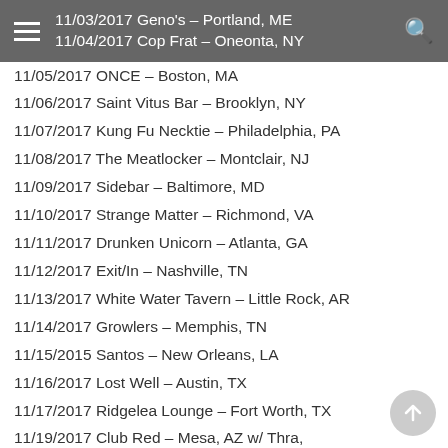11/03/2017 Geno's – Portland, ME
11/04/2017 Cop Frat – Oneonta, NY
11/05/2017 ONCE – Boston, MA
11/06/2017 Saint Vitus Bar – Brooklyn, NY
11/07/2017 Kung Fu Necktie – Philadelphia, PA
11/08/2017 The Meatlocker – Montclair, NJ
11/09/2017 Sidebar – Baltimore, MD
11/10/2017 Strange Matter – Richmond, VA
11/11/2017 Drunken Unicorn – Atlanta, GA
11/12/2017 Exit/In – Nashville, TN
11/13/2017 White Water Tavern – Little Rock, AR
11/14/2017 Growlers – Memphis, TN
11/15/2015 Santos – New Orleans, LA
11/16/2017 Lost Well – Austin, TX
11/17/2017 Ridgelea Lounge – Fort Worth, TX
11/19/2017 Club Red – Mesa, AZ w/ Thra, Ceremented * no Primitive Man
w/ Monarch!:
11/30/2017 Cobalt – Vancouver, BC * Bell Witch only
12/01/2017 Highline – Seattle, WA
12/02/2017 Tonic Lounge – Portland, OR